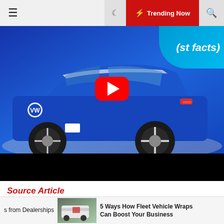☰  🌙  ⚡ Trending Now  🔍
[Figure (screenshot): Video thumbnail showing a blue Volkswagen ID.4 electric SUV with a YouTube play button overlay. Text overlay in top-right corner reads 'st facts)' in white italic on a blue/cyan diagonal banner.]
Source Article
Posted in  Transportation
Tagged # Ban # CALIFORNIA # Cars # ICE # Sale #
s from Dealerships   5 Ways How Fleet Vehicle Wraps Can Boost Your Business